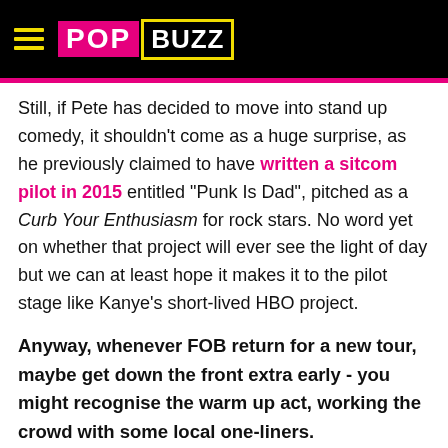POPBUZZ
Still, if Pete has decided to move into stand up comedy, it shouldn't come as a huge surprise, as he previously claimed to have written a sitcom pilot in 2015 entitled "Punk Is Dad", pitched as a Curb Your Enthusiasm for rock stars. No word yet on whether that project will ever see the light of day but we can at least hope it makes it to the pilot stage like Kanye's short-lived HBO project.
Anyway, whenever FOB return for a new tour, maybe get down the front extra early - you might recognise the warm up act, working the crowd with some local one-liners.
[Figure (screenshot): Advertisement banner for Propstream featuring 'Free Realtor Courses' with an orange Open button, overlaid on a greyscale photo background]